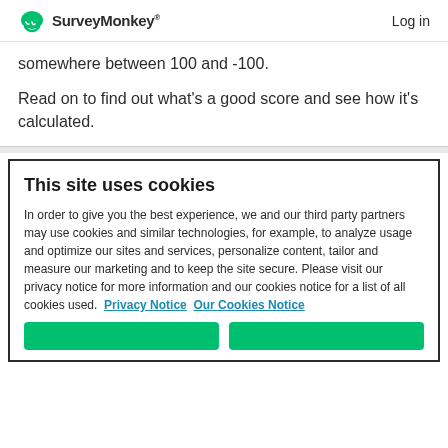SurveyMonkey  Log in
somewhere between 100 and -100.
Read on to find out what's a good score and see how it's calculated.
This site uses cookies
In order to give you the best experience, we and our third party partners may use cookies and similar technologies, for example, to analyze usage and optimize our sites and services, personalize content, tailor and measure our marketing and to keep the site secure. Please visit our privacy notice for more information and our cookies notice for a list of all cookies used.  Privacy Notice  Our Cookies Notice